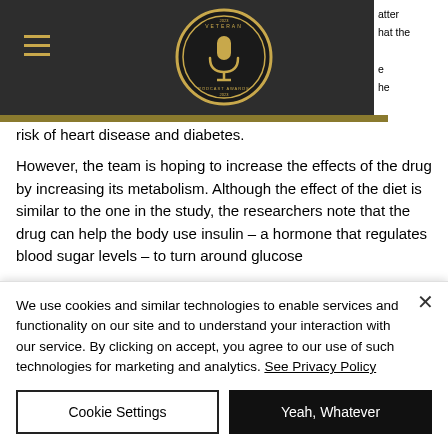Veteran Podcast Awards — navigation header with logo
risk of heart disease and diabetes.
However, the team is hoping to increase the effects of the drug by increasing its metabolism. Although the effect of the diet is similar to the one in the study, the researchers note that the drug can help the body use insulin – a hormone that regulates blood sugar levels – to turn around glucose
We use cookies and similar technologies to enable services and functionality on our site and to understand your interaction with our service. By clicking on accept, you agree to our use of such technologies for marketing and analytics. See Privacy Policy
Cookie Settings
Yeah, Whatever